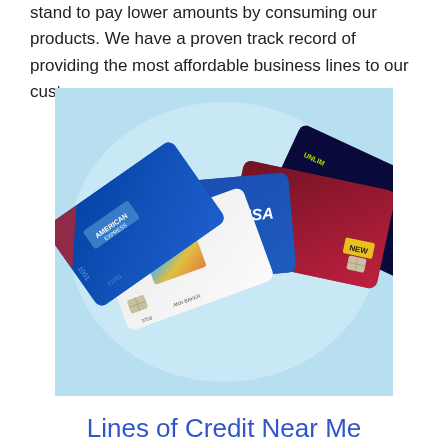stand to pay lower amounts by consuming our products. We have a proven track record of providing the most affordable business lines to our customers.
[Figure (photo): Multiple credit cards fanned out on a light blue background, including American Express, Chase, Visa Signature Business, and Wells Fargo cards. Cards show names ANN BAKER, D. BARRETT / BARRETT CONNECT, and WELLS F... with a NEW badge on the rightmost card.]
Lines of Credit Near Me